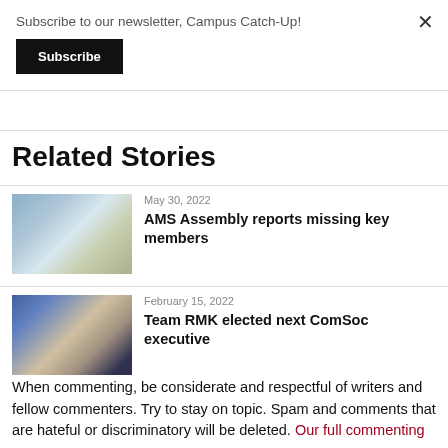Subscribe to our newsletter, Campus Catch-Up!
Subscribe
Related Stories
[Figure (photo): People seated at tables in a modern classroom or meeting room with a projector screen]
May 30, 2022
AMS Assembly reports missing key members
[Figure (photo): Three young people (two women and one man) smiling, posed together indoors]
February 15, 2022
Team RMK elected next ComSoc executive
When commenting, be considerate and respectful of writers and fellow commenters. Try to stay on topic. Spam and comments that are hateful or discriminatory will be deleted. Our full commenting